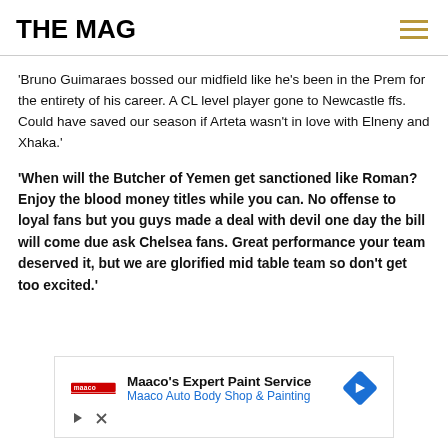THE MAG
'Bruno Guimaraes bossed our midfield like he's been in the Prem for the entirety of his career. A CL level player gone to Newcastle ffs. Could have saved our season if Arteta wasn't in love with Elneny and Xhaka.'
'When will the Butcher of Yemen get sanctioned like Roman? Enjoy the blood money titles while you can. No offense to loyal fans but you guys made a deal with devil one day the bill will come due ask Chelsea fans. Great performance your team deserved it, but we are glorified mid table team so don't get too excited.'
[Figure (other): Advertisement for Maaco's Expert Paint Service / Maaco Auto Body Shop & Painting with logo and navigation arrow icon]